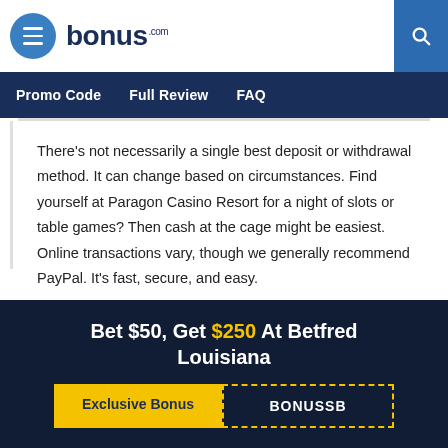bonus.com — navigation header with menu icon and search
Promo Code | Full Review | FAQ
There's not necessarily a single best deposit or withdrawal method. It can change based on circumstances. Find yourself at Paragon Casino Resort for a night of slots or table games? Then cash at the cage might be easiest. Online transactions vary, though we generally recommend PayPal. It's fast, secure, and easy.
Bet $50, Get $250 At Betfred Louisiana
Exclusive Bonus | BONUSSB